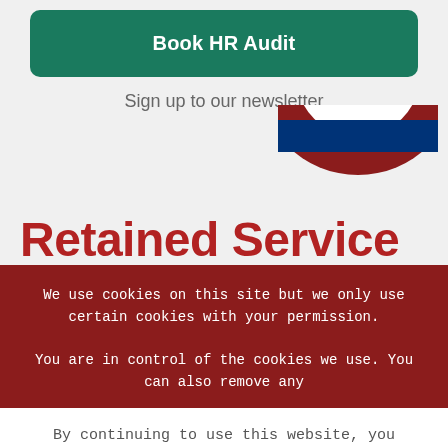Book HR Audit
Sign up to our newsletter
[Figure (logo): Partial circular logo in dark red and blue, resembling a roundel, cropped at the top-right of the page.]
Retained Service
We use cookies on this site but we only use certain cookies with your permission.
You are in control of the cookies we use. You can also remove any
By continuing to use this website, you consent to the use of cookies in accordance with our Cookie Policy.
ACCEPT